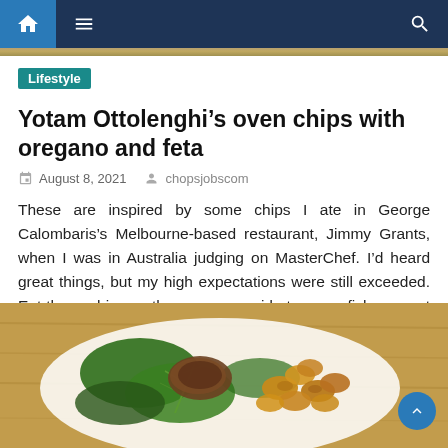Navigation bar with home, menu, and search icons
Lifestyle
Yotam Ottolenghi’s oven chips with oregano and feta
August 8, 2021   chopsjobscom
These are inspired by some chips I ate in George Calombaris’s Melbourne-based restaurant, Jimmy Grants, when I was in Australia judging on MasterChef. I’d heard great things, but my high expectations were still exceeded. Eat these chips as they are, as a side to some fish or meat and with a simple salad, or with [...]
[Figure (photo): Food photo showing a plate with roasted potato chips/wedges, leafy greens, dill, and meat on a wooden surface]